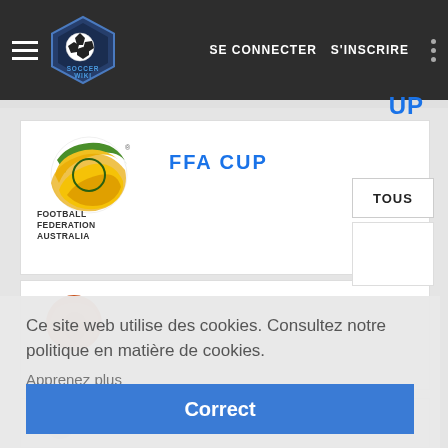Soccer Wiki — SE CONNECTER  S'INSCRIRE
[Figure (logo): Football Federation Australia logo with yellow and green swoosh and text FOOTBALL FEDERATION AUSTRALIA]
FFA CUP
[Figure (logo): Partially visible sports logo (orange/brown ball-like icon)]
UP
TOUS
Ce site web utilise des cookies. Consultez notre politique en matière de cookies.
Apprenez plus
Correct